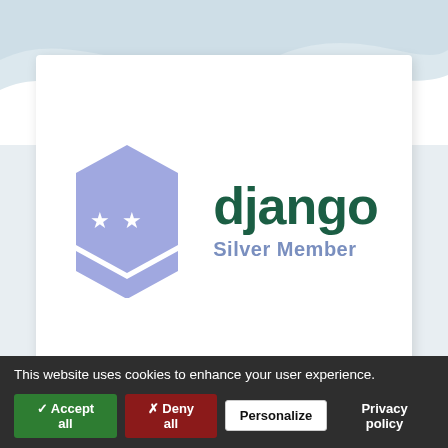[Figure (logo): Django Software Foundation Silver Member badge and logo. A purple hexagon badge with two white stars above a chevron stripe, next to the text 'django' in dark green and 'Silver Member' in blue-grey.]
This website uses cookies to enhance your user experience.
✓ Accept all
✗ Deny all
Personalize
Privacy policy